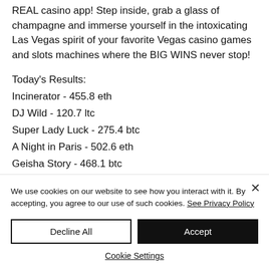REAL casino app! Step inside, grab a glass of champagne and immerse yourself in the intoxicating Las Vegas spirit of your favorite Vegas casino games and slots machines where the BIG WINS never stop!
Today's Results:
Incinerator - 455.8 eth
DJ Wild - 120.7 ltc
Super Lady Luck - 275.4 btc
A Night in Paris - 502.6 eth
Geisha Story - 468.1 btc
Red Dragon - 255.4 btc
We use cookies on our website to see how you interact with it. By accepting, you agree to our use of such cookies. See Privacy Policy